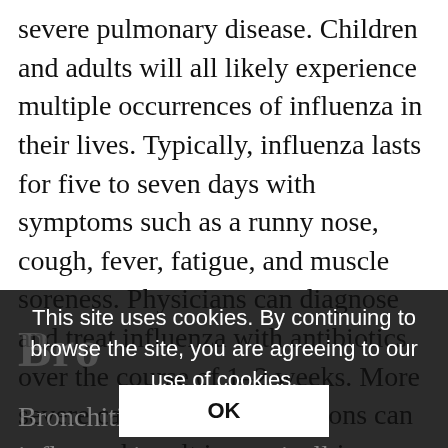severe pulmonary disease. Children and adults will all likely experience multiple occurrences of influenza in their lives. Typically, influenza lasts for five to seven days with symptoms such as a runny nose, cough, fever, fatigue, and muscle soreness. Physicians can diagnose and treat influenza with antibiotics over the course of 1–2 weeks. More severe cases and complications can occur and result in pneumonia. Influenza is mitigated by the availability of annual flu vaccines, which are recommended for children
This site uses cookies. By continuing to browse the site, you are agreeing to our use of cookies.
Bronchitis
Bronchitis occurs when there is inflammation... typically as a